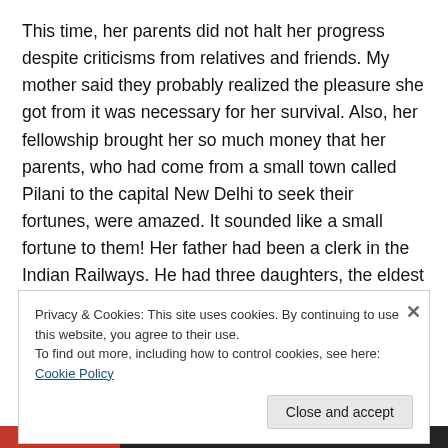This time, her parents did not halt her progress despite criticisms from relatives and friends. My mother said they probably realized the pleasure she got from it was necessary for her survival. Also, her fellowship brought her so much money that her parents, who had come from a small town called Pilani to the capital New Delhi to seek their fortunes, were amazed. It sounded like a small fortune to them! Her father had been a clerk in the Indian Railways. He had three daughters, the eldest being my mother. The other two were married by the time we came
Privacy & Cookies: This site uses cookies. By continuing to use this website, you agree to their use.
To find out more, including how to control cookies, see here: Cookie Policy
Close and accept